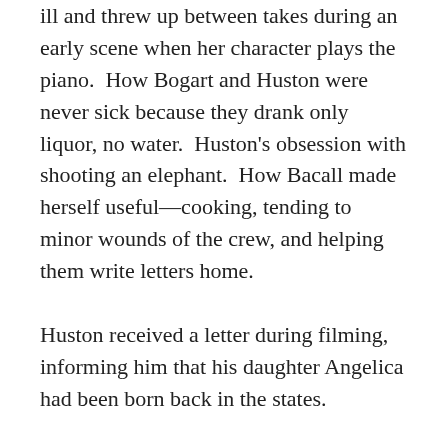ill and threw up between takes during an early scene when her character plays the piano. How Bogart and Huston were never sick because they drank only liquor, no water. Huston's obsession with shooting an elephant. How Bacall made herself useful—cooking, tending to minor wounds of the crew, and helping them write letters home.
Huston received a letter during filming, informing him that his daughter Angelica had been born back in the states.
Hepburn marveled at the love between Bogie and Bacall, who both became lifelong friends after their time making the Queen: